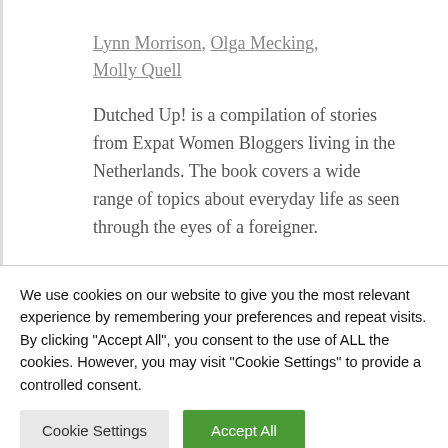Lynn Morrison, Olga Mecking, Molly Quell
Dutched Up! is a compilation of stories from Expat Women Bloggers living in the Netherlands. The book covers a wide range of topics about everyday life as seen through the eyes of a foreigner.
We use cookies on our website to give you the most relevant experience by remembering your preferences and repeat visits. By clicking "Accept All", you consent to the use of ALL the cookies. However, you may visit "Cookie Settings" to provide a controlled consent.